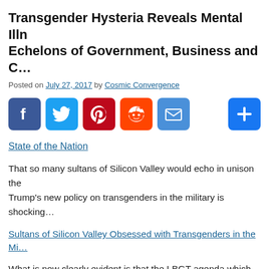Transgender Hysteria Reveals Mental Illness in Echelons of Government, Business and C…
Posted on July 27, 2017 by Cosmic Convergence
[Figure (infographic): Social media share buttons: Facebook, Twitter, Pinterest, Reddit, Email, and a plus/more button]
State of the Nation
That so many sultans of Silicon Valley would echo in unison the… Trump's new policy on transgenders in the military is shocking…
Sultans of Silicon Valley Obsessed with Transgenders in the Mi…
What is now clearly evident is that the LBGT agenda which was… actually dictated by Deep State.
Why, otherwise, would these tech titans put up such a fuss abou… transgendered characters from the U.S. Armed Forces.